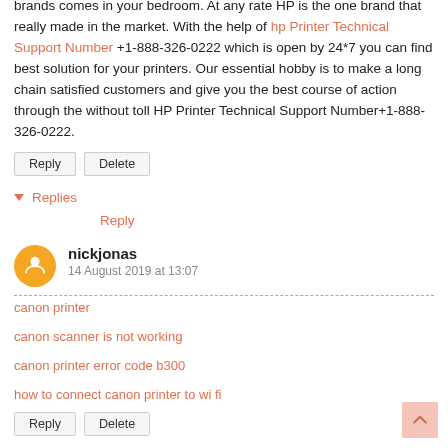brands comes in your bedroom. At any rate HP is the one brand that really made in the market. With the help of hp Printer Technical Support Number +1-888-326-0222 which is open by 24*7 you can find best solution for your printers. Our essential hobby is to make a long chain satisfied customers and give you the best course of action through the without toll HP Printer Technical Support Number+1-888-326-0222.
Reply
Delete
▾ Replies
Reply
nickjonas
14 August 2019 at 13:07
canon printer
canon scanner is not working
canon printer error code b300
how to connect canon printer to wi fi
Reply
Delete